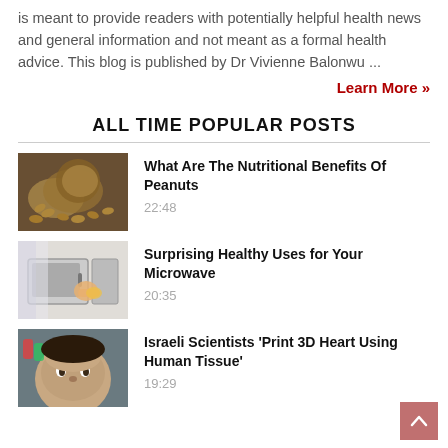is meant to provide readers with potentially helpful health news and general information and not meant as a formal health advice. This blog is published by Dr Vivienne Balonwu ...
Learn More »
ALL TIME POPULAR POSTS
What Are The Nutritional Benefits Of Peanuts 22:48
Surprising Healthy Uses for Your Microwave 20:35
Israeli Scientists 'Print 3D Heart Using Human Tissue' 19:29